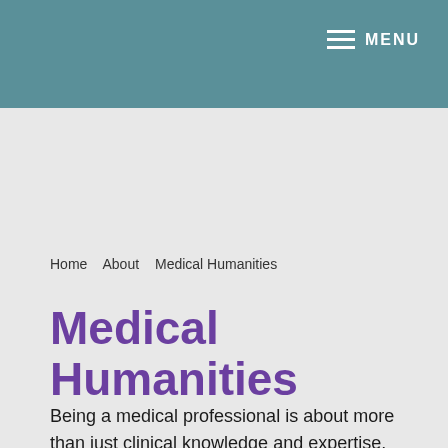MENU
Home   About   Medical Humanities
Medical Humanities
Being a medical professional is about more than just clinical knowledge and expertise. Medical humanities are human pursuits that could enhance your medical performance and development.
Overview